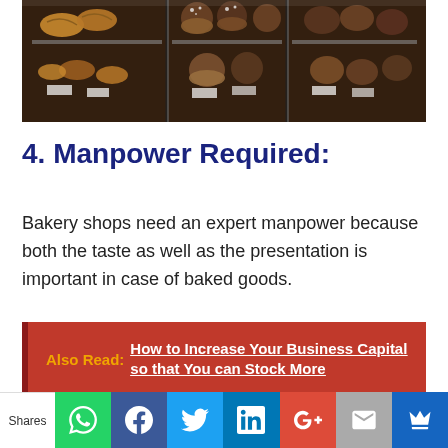[Figure (photo): Bakery display case with croissants, muffins, and pastries on shelves]
4. Manpower Required:
Bakery shops need an expert manpower because both the taste as well as the presentation is important in case of baked goods.
Also Read:  How to Increase Your Business Capital so that You can Stock More